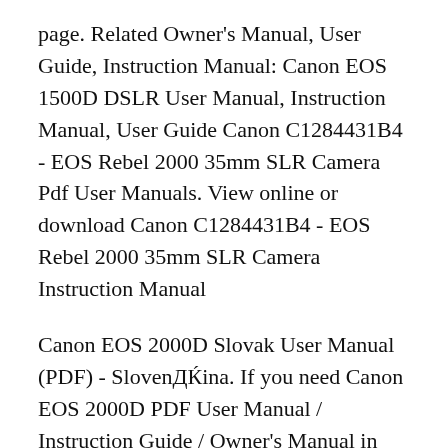page. Related Owner's Manual, User Guide, Instruction Manual: Canon EOS 1500D DSLR User Manual, Instruction Manual, User Guide Canon C1284431B4 - EOS Rebel 2000 35mm SLR Camera Pdf User Manuals. View online or download Canon C1284431B4 - EOS Rebel 2000 35mm SLR Camera Instruction Manual
Canon EOS 2000D Slovak User Manual (PDF) - SlovenДЌina. If you need Canon EOS 2000D PDF User Manual / Instruction Guide / Owner's Manual in other languages, please feel free to leave your comments at the bottom of this page. Related Owner's Manual, User Guide, Instruction Manual: Canon EOS 1500D DSLR User Manual, Instruction Manual, User Guide View